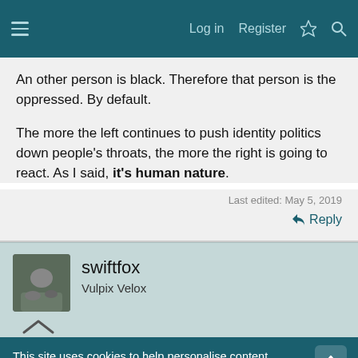Log in  Register
An other person is black. Therefore that person is the oppressed. By default.

The more the left continues to push identity politics down people's throats, the more the right is going to react. As I said, it's human nature.
Last edited: May 5, 2019
↩ Reply
swiftfox
Vulpix Velox
This site uses cookies to help personalise content, tailor your experience and to keep you logged in if you register.
By continuing to use this site, you are consenting to our use of cookies.